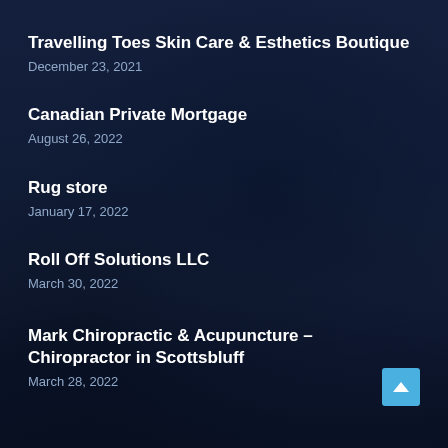Travelling Toes Skin Care & Esthetics Boutique
December 23, 2021
Canadian Private Mortgage
August 26, 2022
Rug store
January 17, 2022
Roll Off Solutions LLC
March 30, 2022
Mark Chiropractic & Acupuncture – Chiropractor in Scottsbluff
March 28, 2022